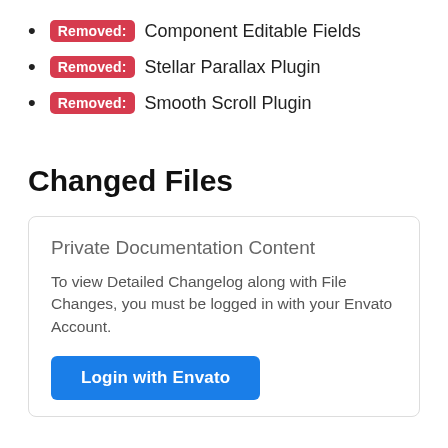Removed: Component Editable Fields
Removed: Stellar Parallax Plugin
Removed: Smooth Scroll Plugin
Changed Files
Private Documentation Content
To view Detailed Changelog along with File Changes, you must be logged in with your Envato Account.
Login with Envato